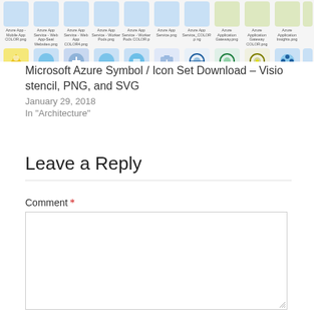[Figure (screenshot): Strip of Microsoft Azure icons in two rows showing various Azure service PNG icons with labels beneath each icon]
Microsoft Azure Symbol / Icon Set Download – Visio stencil, PNG, and SVG
January 29, 2018
In "Architecture"
Leave a Reply
Comment *